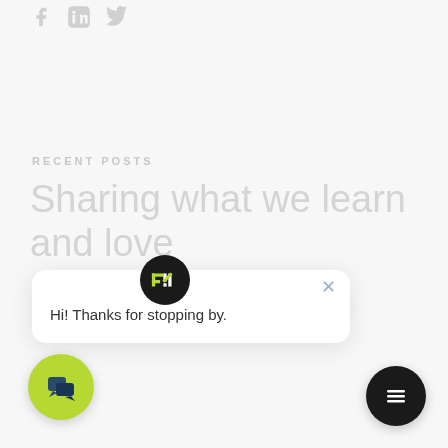[Figure (illustration): Social media icons (Facebook, LinkedIn, Twitter) in light gray at top left]
RECENT POSTS
Sharing what we learn and love
[Figure (screenshot): Chat popup card with avatar logo showing stylized M/A icon, close X button, and message 'Hi! Thanks for stopping by.']
[Figure (illustration): Green circle chat button at bottom left with chat bubble icon]
[Figure (illustration): Dark circle menu/hamburger button at bottom right]